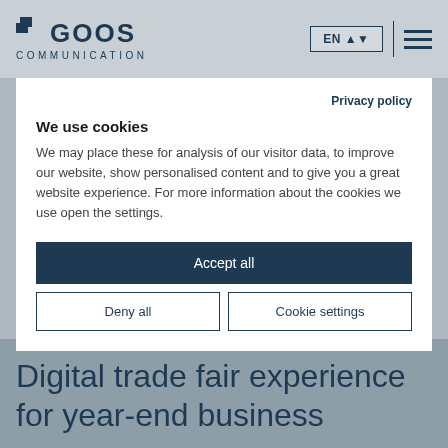GOOS COMMUNICATION
Privacy policy
We use cookies
We may place these for analysis of our visitor data, to improve our website, show personalised content and to give you a great website experience. For more information about the cookies we use open the settings.
Accept all
Deny all
Cookie settings
Digital trade fair experience for year-end business